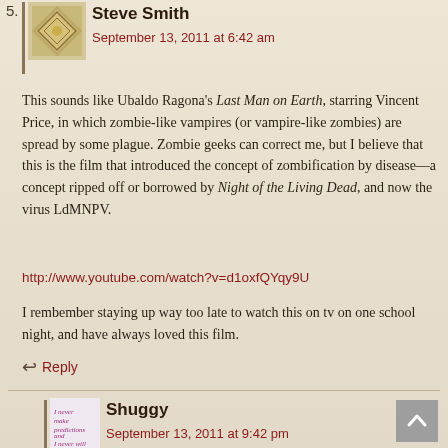5. Steve Smith
September 13, 2011 at 6:42 am
This sounds like Ubaldo Ragona's Last Man on Earth, starring Vincent Price, in which zombie-like vampires (or vampire-like zombies) are spread by some plague. Zombie geeks can correct me, but I believe that this is the film that introduced the concept of zombification by disease—a concept ripped off or borrowed by Night of the Living Dead, and now the virus LdMNPV.
http://www.youtube.com/watch?v=d1oxfQYqy9U
I rembember staying up way too late to watch this on tv on one school night, and have always loved this film.
↩ Reply
Shuggy
September 13, 2011 at 9:42 pm